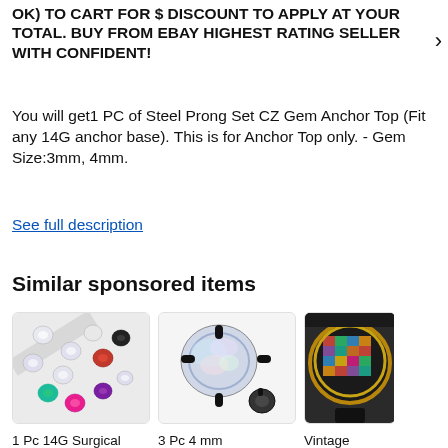OK) TO CART FOR $ DISCOUNT TO APPLY AT YOUR TOTAL. BUY FROM EBAY HIGHEST RATING SELLER WITH CONFIDENT!
You will get 1 PC of Steel Prong Set CZ Gem Anchor Top (Fit any 14G anchor base). This is for Anchor Top only. - Gem Size:3mm, 4mm.
See full description
Similar sponsored items
[Figure (photo): Multiple colorful CZ gem stones on a white surface]
1 Pc 14G Surgical Steel Internal...
$6.95
[Figure (photo): 3 Pc 4mm Black/Clear CZ gem anchor top on white background]
3 Pc 4 mm Black/Clear C.Z....
$8.95
[Figure (photo): Vintage Whiting & Davis RARE product on black display]
Vintage Whiting &amp; Davis RARE Pro
$12.99